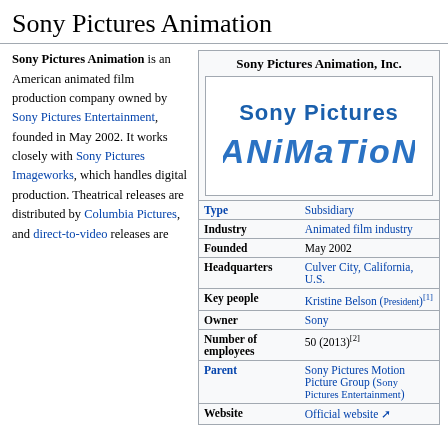Sony Pictures Animation
Sony Pictures Animation is an American animated film production company owned by Sony Pictures Entertainment, founded in May 2002. It works closely with Sony Pictures Imageworks, which handles digital production. Theatrical releases are distributed by Columbia Pictures, and direct-to-video releases are
|  | Sony Pictures Animation, Inc. |
| --- | --- |
| [logo] |  |
| Type | Subsidiary |
| Industry | Animated film industry |
| Founded | May 2002 |
| Headquarters | Culver City, California, U.S. |
| Key people | Kristine Belson (President)[1] |
| Owner | Sony |
| Number of employees | 50 (2013)[2] |
| Parent | Sony Pictures Motion Picture Group (Sony Pictures Entertainment) |
| Website | Official website |